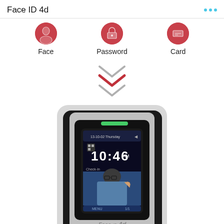Face ID 4d
[Figure (infographic): Three authentication method icons (Face, Password, Card) shown as red/pink circular icons with labels below]
[Figure (illustration): Three stacked chevron/arrow shapes pointing downward, middle one in red, outer ones in gray]
[Figure (photo): Photo of Face ID 4d biometric access control device - a black and silver terminal with a touchscreen display showing 10:46 AM and a face recognition image of a man wearing glasses, with 'Face ID 4d' branding]